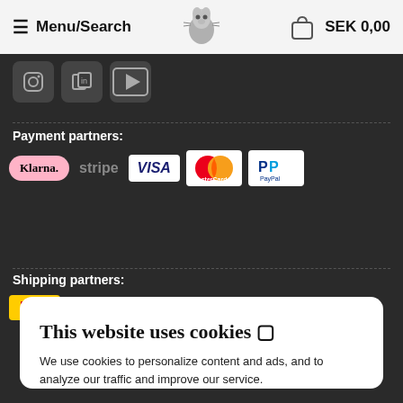Menu/Search   SEK 0,00
Payment partners:
[Figure (logo): Payment partner logos: Klarna, stripe, VISA, MasterCard, PayPal]
Shipping partners:
[Figure (logo): Shipping partner logos: DHL, postnord]
This website uses cookies 🍪
We use cookies to personalize content and ads, and to analyze our traffic and improve our service.
SETTINGS
Alright, accept all!